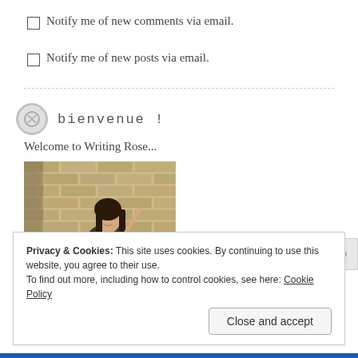Notify me of new comments via email.
Notify me of new posts via email.
bienvenue !
Welcome to Writing Rose...
[Figure (photo): Young woman with long dark hair standing in front of a brick wall, smiling and leaning against a doorframe.]
Privacy & Cookies: This site uses cookies. By continuing to use this website, you agree to their use.
To find out more, including how to control cookies, see here: Cookie Policy
Close and accept